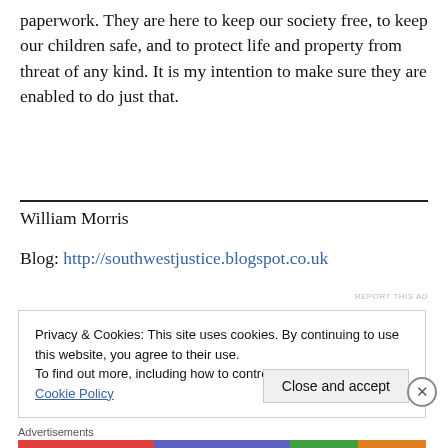paperwork. They are here to keep our society free, to keep our children safe, and to protect life and property from threat of any kind. It is my intention to make sure they are enabled to do just that.
William Morris
Blog: http://southwestjustice.blogspot.co.uk
Privacy & Cookies: This site uses cookies. By continuing to use this website, you agree to their use.
To find out more, including how to control cookies, see here: Cookie Policy
Close and accept
Advertisements